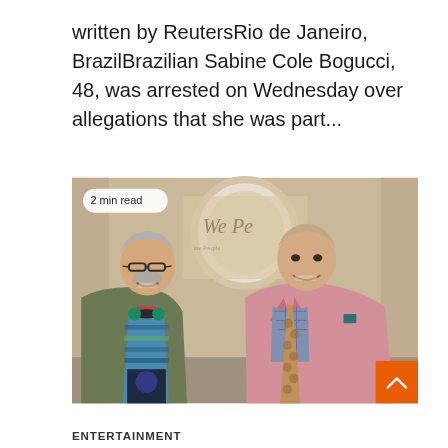written by ReutersRio de Janeiro, BrazilBrazilian Sabine Cole Bogucci, 48, was arrested on Wednesday over allegations that she was part...
[Figure (photo): Two men smiling and posing together indoors. The man on the left wears glasses, a green jacket, headphones around his neck, and a colorful sweater with text. The man on the right wears a pink blazer, plaid shirt, and patterned tie. A badge reading '2 min read' is overlaid at the top left of the photo.]
ENTERTAINMENT